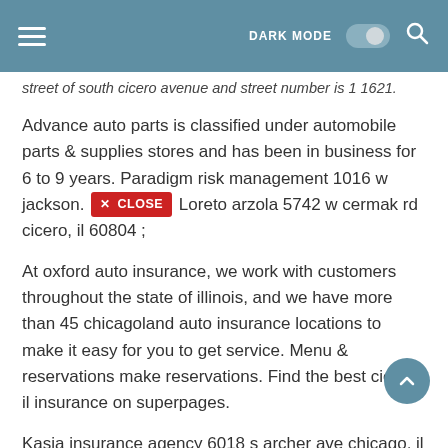DARK MODE [toggle] [search]
street of south cicero avenue and street number is 1 1621.
Advance auto parts is classified under automobile parts & supplies stores and has been in business for 6 to 9 years. Paradigm risk management 1016 w jackson. Loreto arzola 5742 w cermak rd cicero, il 60804 ;
At oxford auto insurance, we work with customers throughout the state of illinois, and we have more than 45 chicagoland auto insurance locations to make it easy for you to get service. Menu & reservations make reservations. Find the best cicero, il insurance on superpages.
Kasia insurance agency 6018 s archer ave chicago, il 60638 ; Listed below is the lowest price we could find the coverages that you selected. Car & auto insurance , print.